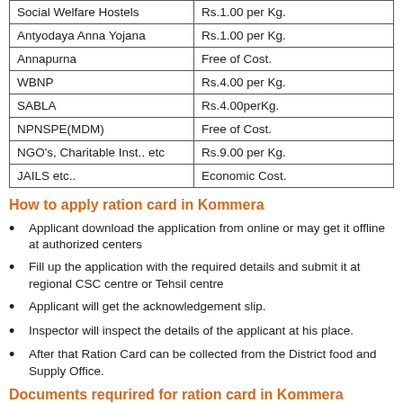| Category | Rate |
| --- | --- |
| Social Welfare Hostels | Rs.1.00 per Kg. |
| Antyodaya Anna Yojana | Rs.1.00 per Kg. |
| Annapurna | Free of Cost. |
| WBNP | Rs.4.00 per Kg. |
| SABLA | Rs.4.00perKg. |
| NPNSPE(MDM) | Free of Cost. |
| NGO's, Charitable Inst.. etc | Rs.9.00 per Kg. |
| JAILS etc.. | Economic Cost. |
How to apply ration card in Kommera
Applicant download the application from online or may get it offline at authorized centers
Fill up the application with the required details and submit it at regional CSC centre or Tehsil centre
Applicant will get the acknowledgement slip.
Inspector will inspect the details of the applicant at his place.
After that Ration Card can be collected from the District food and Supply Office.
Documents requrired for ration card in Kommera